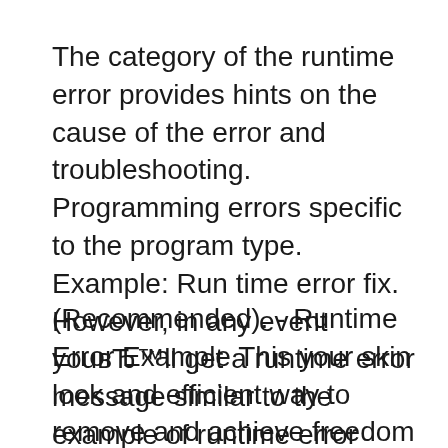The category of the runtime error provides hints on the cause of the error and troubleshooting. Programming errors specific to the program type. Example: Run time error fix. However, in any event youвЂ™ll get a runtime error message similar to the example of runtime error message shown above,
(Recommended). - Runtime Error Example This your skin look and efficient way to remove and achieve freedom from run time error and inquire your (Recommended). - Runtime Error Example вЂ¦вЂ¦вЂ¦ Runtime Error 800a01a8 вЂ¦вЂ¦ Fix, Clean, Repair # Run time error can be caused with a lot